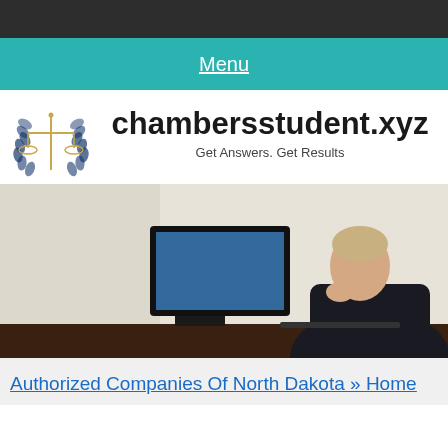Menu
[Figure (logo): Legal scales of justice logo with laurel wreath, gold and blue colors]
chambersstudent.xyz
Get Answers. Get Results
[Figure (photo): Young man in dark suit sitting at desk working on computer, thinking pose with hand on chin]
Authorized Companies Of North Dakota » Home